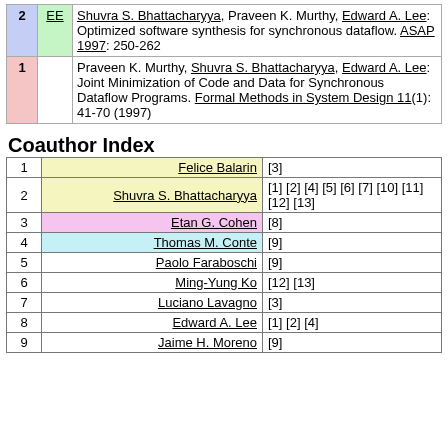| # | Type | Reference |
| --- | --- | --- |
| 2 | EE | Shuvra S. Bhattacharyya, Praveen K. Murthy, Edward A. Lee: Optimized software synthesis for synchronous dataflow. ASAP 1997: 250-262 |
| 1 |  | Praveen K. Murthy, Shuvra S. Bhattacharyya, Edward A. Lee: Joint Minimization of Code and Data for Synchronous Dataflow Programs. Formal Methods in System Design 11(1): 41-70 (1997) |
Coauthor Index
| # | Name | References |
| --- | --- | --- |
| 1 | Felice Balarin | [3] |
| 2 | Shuvra S. Bhattacharyya | [1] [2] [4] [5] [6] [7] [10] [11] [12] [13] |
| 3 | Etan G. Cohen | [8] |
| 4 | Thomas M. Conte | [9] |
| 5 | Paolo Faraboschi | [9] |
| 6 | Ming-Yung Ko | [12] [13] |
| 7 | Luciano Lavagno | [3] |
| 8 | Edward A. Lee | [1] [2] [4] |
| 9 | Jaime H. Moreno | [9] |